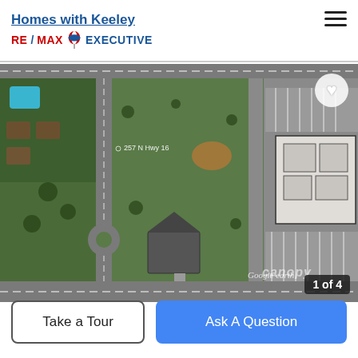Homes with Keeley | RE/MAX EXECUTIVE
[Figure (photo): Aerial satellite view (Google Earth) of a property at 257 N Hwy 16, showing a grassy lot, adjacent commercial building with parking lot, and surrounding roads and trees. Labeled '1 of 4' with canopy watermark.]
Take a Tour
Ask A Question